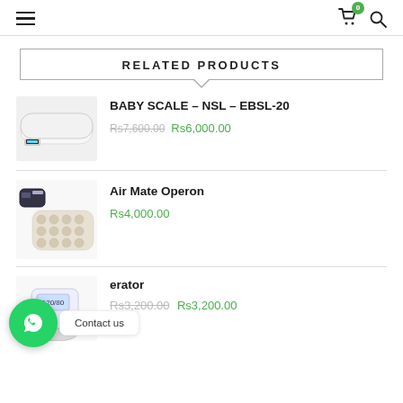Navigation header with hamburger menu, cart icon (badge: 0), and search icon
RELATED PRODUCTS
[Figure (photo): Baby scale product image - white flat digital baby scale with LCD display]
BABY SCALE – NSL – EBSL-20
Rs7,600.00  Rs6,000.00
[Figure (photo): Air Mate Operon product image - air pump device with bubble mattress]
Air Mate Operon
Rs4,000.00
[Figure (photo): Partial product image - blood pressure monitor device]
erator
Rs3,200.00
Contact us